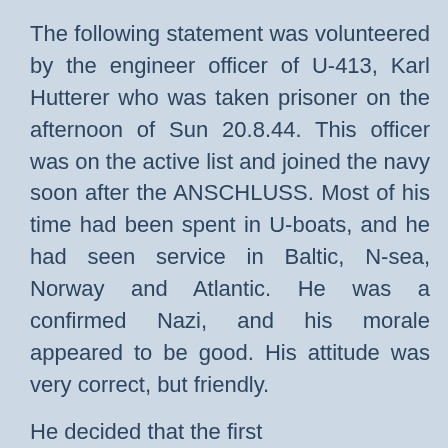The following statement was volunteered by the engineer officer of U-413, Karl Hutterer who was taken prisoner on the afternoon of Sun 20.8.44. This officer was on the active list and joined the navy soon after the ANSCHLUSS. Most of his time had been spent in U-boats, and he had seen service in Baltic, N-sea, Norway and Atlantic. He was a confirmed Nazi, and his morale appeared to be good. His attitude was very correct, but friendly.
He decided that the first